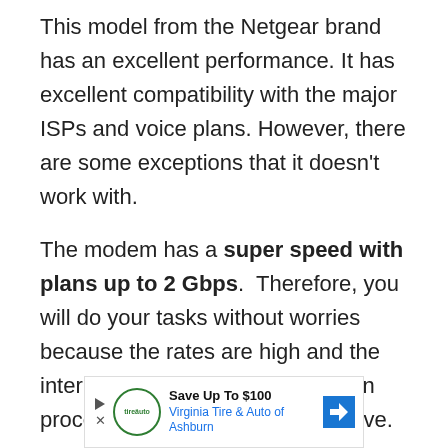This model from the Netgear brand has an excellent performance. It has excellent compatibility with the major ISPs and voice plans. However, there are some exceptions that it doesn't work with.
The modem has a super speed with plans up to 2 Gbps.  Therefore, you will do your tasks without worries because the rates are high and the internet is reliable. The connection process is simple and very effective.
Moreover, the model works with any router
[Figure (infographic): Advertisement banner: Save Up To $100 — Virginia Tire & Auto of Ashburn, with circular logo on left and blue diamond arrow on right]